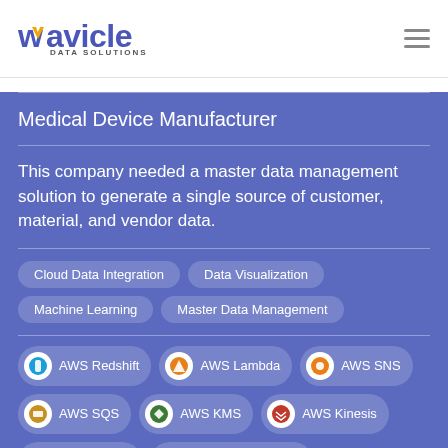[Figure (logo): Wavicle Data Solutions logo with blue stylized text and orange chevron accent, DATA SOLUTIONS subtitle]
Medical Device Manufacturer
This company needed a master data management solution to generate a single source of customer, material, and vendor data.
Cloud Data Integration
Data Visualization
Machine Learning
Master Data Management
AWS Redshift
AWS Lambda
AWS SNS
AWS SQS
AWS KMS
AWS Kinesis
AWS Aurora
AWS Elasticsearch